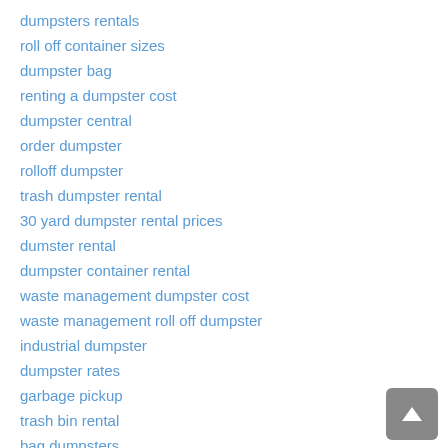dumpsters rentals
roll off container sizes
dumpster bag
renting a dumpster cost
dumpster central
order dumpster
rolloff dumpster
trash dumpster rental
30 yard dumpster rental prices
dumster rental
dumpster container rental
waste management dumpster cost
waste management roll off dumpster
industrial dumpster
dumpster rates
garbage pickup
trash bin rental
bag dumpsters
garbage dumpster rental